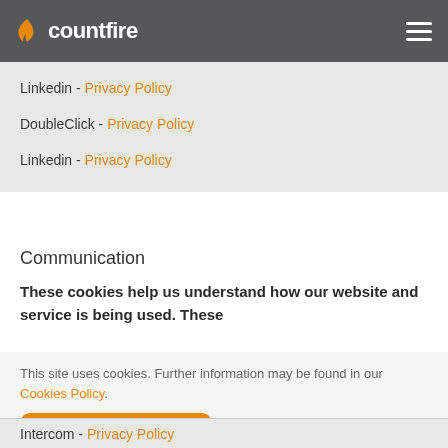countfire
Linkedin - Privacy Policy
DoubleClick - Privacy Policy
Linkedin - Privacy Policy
Communication
These cookies help us understand how our website and service is being used. These
This site uses cookies. Further information may be found in our Cookies Policy.
Accept and close >
Intercom - Privacy Policy